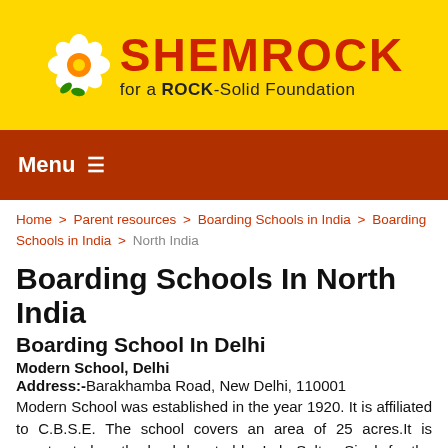[Figure (logo): Shemrock school logo with flower icon and tagline 'for a ROCK-Solid Foundation' on yellow background]
Menu ≡
Home > Parent resources > Boarding Schools in India > Boarding Schools in India > North India
Boarding Schools In North India
Boarding School In Delhi
Modern School, Delhi
Address:-Barakhamba Road, New Delhi, 110001
Modern School was established in the year 1920. It is affiliated to C.B.S.E. The school covers an area of 25 acres.It is constructed on the land donated by Lala Sultan Singh for the special cause. To fulfill the dreams of his father, Lala Raghubir Singh with his colleague Sardar Sobha Singh, a renowned constructer, started